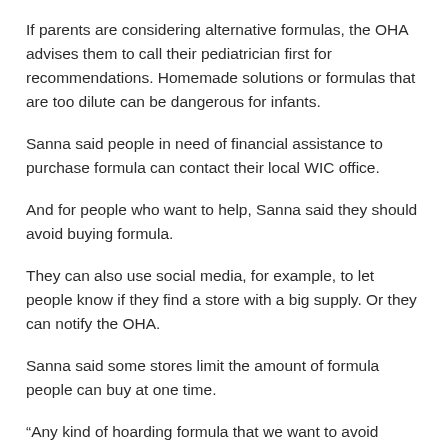If parents are considering alternative formulas, the OHA advises them to call their pediatrician first for recommendations. Homemade solutions or formulas that are too dilute can be dangerous for infants.
Sanna said people in need of financial assistance to purchase formula can contact their local WIC office.
And for people who want to help, Sanna said they should avoid buying formula.
They can also use social media, for example, to let people know if they find a store with a big supply. Or they can notify the OHA.
Sanna said some stores limit the amount of formula people can buy at one time.
“Any kind of hoarding formula that we want to avoid because the supply is coming,” Sanna said. “So we just want to make sure